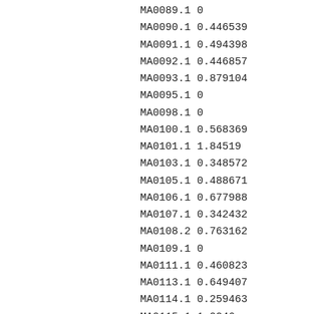MA0089.1 0
MA0090.1 0.446539
MA0091.1 0.494398
MA0092.1 0.446857
MA0093.1 0.879104
MA0095.1 0
MA0098.1 0
MA0100.1 0.568369
MA0101.1 1.84519
MA0103.1 0.348572
MA0105.1 0.488671
MA0106.1 0.677988
MA0107.1 0.342432
MA0108.2 0.763162
MA0109.1 0
MA0111.1 0.460823
MA0113.1 0.649407
MA0114.1 0.259463
MA0115.1 1.0246